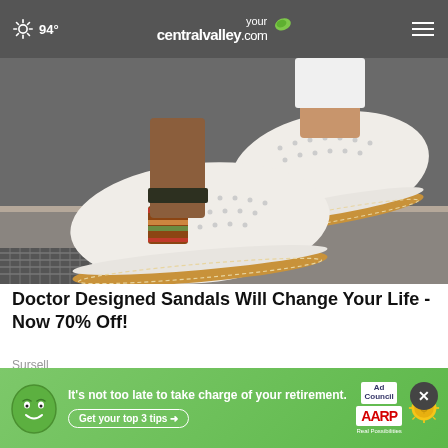94° yourcentralvalley.com
[Figure (photo): Close-up photo of white slip-on shoes with perforated leather upper and brown striped side panel, worn by a person standing on pavement]
Doctor Designed Sandals Will Change Your Life - Now 70% Off!
Sursell
[Figure (photo): Partial view of a second advertisement image with a person in the background]
[Figure (infographic): AARP advertisement banner: 'It's not too late to take charge of your retirement. Get your top 3 tips.' with Ad Council and AARP logos, green background with cartoon face and sun coin graphic]